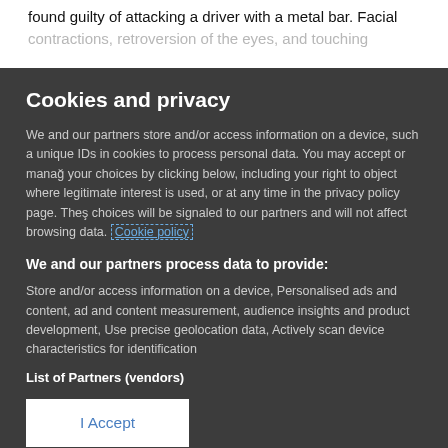found guilty of attacking a driver with a metal bar. Facial contractions, retroversion of the eyes, and touching
Cookies and privacy
We and our partners store and/or access information on a device, such as unique IDs in cookies to process personal data. You may accept or manage your choices by clicking below, including your right to object where legitimate interest is used, or at any time in the privacy policy page. These choices will be signaled to our partners and will not affect browsing data. Cookie policy
We and our partners process data to provide:
Store and/or access information on a device, Personalised ads and content, ad and content measurement, audience insights and product development, Use precise geolocation data, Actively scan device characteristics for identification
List of Partners (vendors)
I Accept